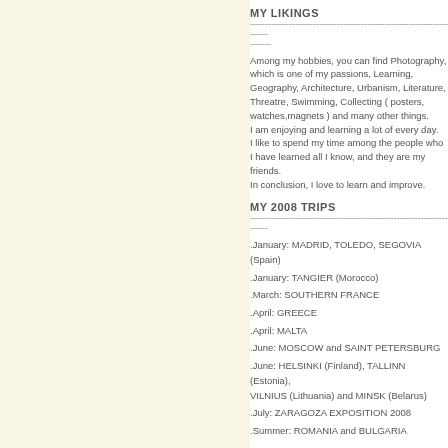MY LIKINGS
Among my hobbies, you can find Photography, which is one of my passions, Learning, Geography, Architecture, Urbanism, Literature, Threatre, Swimming, Collecting ( posters, watches,magnets ) and many other things. I am enjoying and learning a lot of every day. I like to spend my time among the people who I have learned all I know, and they are my friends. In conclusion, I love to learn and improve.
MY 2008 TRIPS
.January: MADRID, TOLEDO, SEGOVIA (Spain)
.January: TANGIER (Morocco)
.March: SOUTHERN FRANCE
.April: GREECE
.April: MALTA
.June: MOSCOW and SAINT PETERSBURG
.June: HELSINKI (Finland), TALLINN (Estonia), VILNIUS (Lithuania) and MINSK (Belarus)
.July: ZARAGOZA EXPOSITION 2008
.Summer: ROMANIA and BULGARIA
Countries Visited (26): SPAIN(uncountable), THE NETHERLANDS, ITALY(5 times)